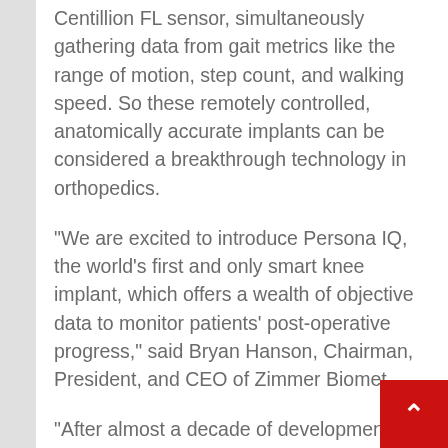Centillion FL sensor, simultaneously gathering data from gait metrics like the range of motion, step count, and walking speed. So these remotely controlled, anatomically accurate implants can be considered a breakthrough technology in orthopedics.
“We are excited to introduce Persona IQ, the world’s first and only smart knee implant, which offers a wealth of objective data to monitor patients’ post-operative progress,” said Bryan Hanson, Chairman, President, and CEO of Zimmer Biomet.
“After almost a decade of development and designation by FDA as a Breakthrough Device, we’re proud that our CANARY canturio te